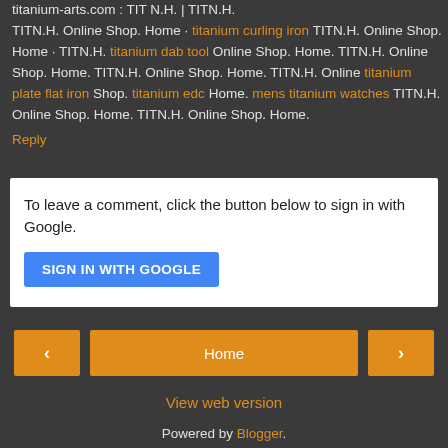titanium-arts.com : TIT N.H. | TITN.H. TITN.H. Online Shop. Home · titanium curling iron TITN.H. Online Shop. Home · TITN.H. titanium dab tool Online Shop. Home. TITN.H. Online Shop. Home. TITN.H. Online Shop. Home. TITN.H. Online titanium plate flat iron Shop. titanium edc Home. mens titanium watches TITN.H. Online Shop. Home. TITN.H. Online Shop. Home.
Reply
To leave a comment, click the button below to sign in with Google.
SIGN IN WITH GOOGLE
Home
View web version
Powered by Blogger.